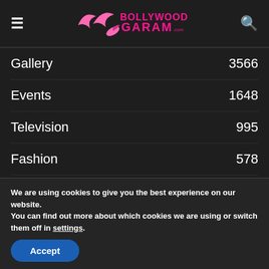Bollywood Garam
Gallery 3566
Events 1648
Television 995
Fashion 578
Trailers 572
Airport Fashion 505
Bigg Boss 348
We are using cookies to give you the best experience on our website.
You can find out more about which cookies we are using or switch them off in settings.